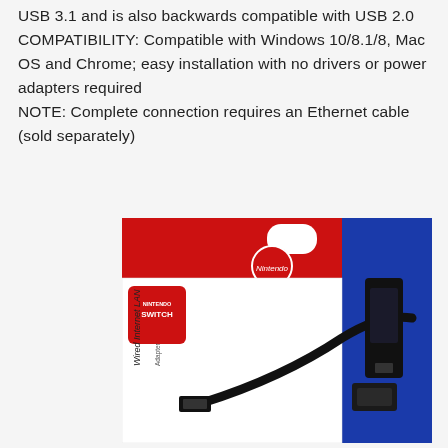USB 3.1 and is also backwards compatible with USB 2.0 COMPATIBILITY: Compatible with Windows 10/8.1/8, Mac OS and Chrome; easy installation with no drivers or power adapters required NOTE: Complete connection requires an Ethernet cable (sold separately)
[Figure (photo): Product packaging photo of Nintendo Switch Wired Internet LAN Adapter box, showing a red and blue retail box with the product cable visible, and Nintendo Switch branding.]